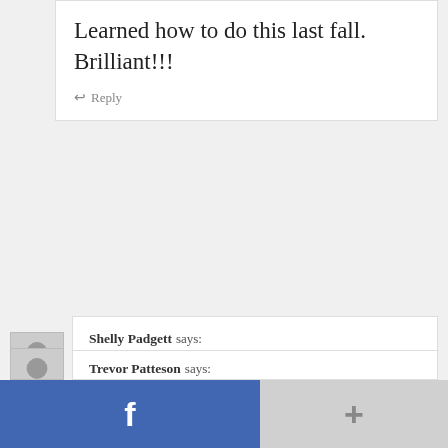Learned how to do this last fall. Brilliant!!!
Reply
Shelly Padgett says: February 1, 2015 at 3:33 am
Nice! Will definitely try this for baseball and NASCAR.
Reply
Trevor Patteson says:
[Figure (other): Facebook share button bar at the bottom with blue Facebook 'f' button on the left and a gray '+' button on the right]